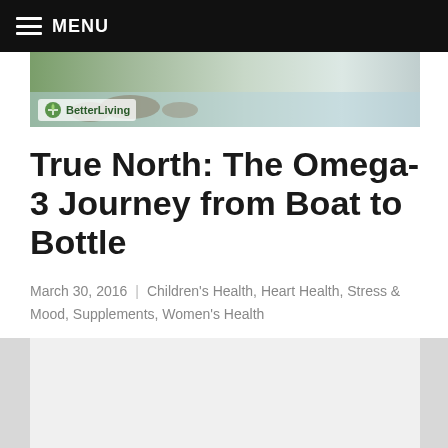MENU
[Figure (photo): Banner image showing a nature/water scene with Better Living logo overlay]
True North: The Omega-3 Journey from Boat to Bottle
March 30, 2016 | Children's Health, Heart Health, Stress & Mood, Supplements, Women's Health
[Figure (photo): Article image area, partially visible]